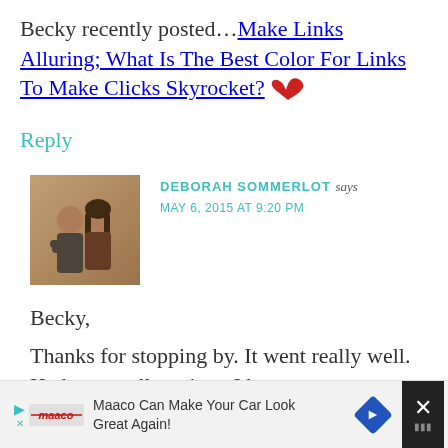Becky recently posted…Make Links Alluring; What Is The Best Color For Links To Make Clicks Skyrocket? 🦌
Reply
[Figure (photo): Sepia-toned photo of a man and woman posing together]
DEBORAH SOMMERLOT says
MAY 6, 2015 AT 9:20 PM
Becky,
Thanks for stopping by. It went really well. Had an excellent time. I hope
Maaco Can Make Your Car Look Great Again!